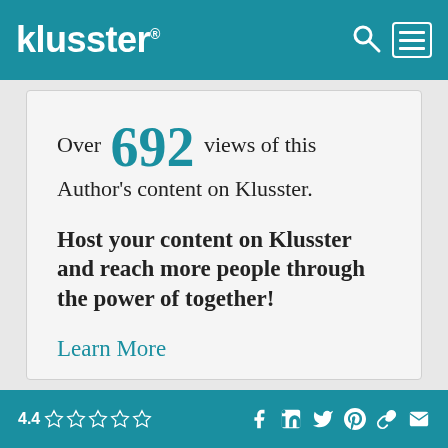klusster®
Over 692 views of this Author's content on Klusster.
Host your content on Klusster and reach more people through the power of together!
Learn More
Join Klusster
4.4 ☆☆☆☆☆